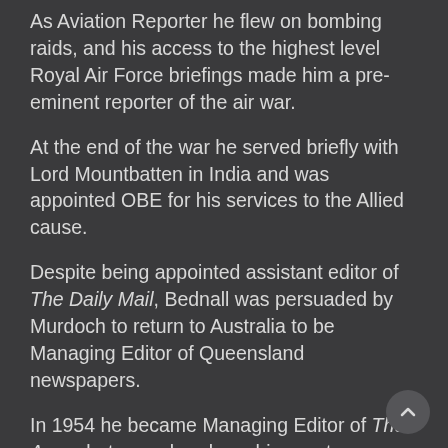As Aviation Reporter he flew on bombing raids, and his access to the highest level Royal Air Force briefings made him a pre-eminent reporter of the air war.
At the end of the war he served briefly with Lord Mountbatten in India and was appointed OBE for his services to the Allied cause.
Despite being appointed assistant editor of The Daily Mail, Bednall was persuaded by Murdoch to return to Australia to be Managing Editor of Queensland newspapers.
In 1954 he became Managing Editor of The Argus but was already on his way to a new career in television. A year earlier he had been appointed to the royal commission set up to oversee the introduction of television and it was almost inevitable that he would be recruited by one of the new stations.
Despite intense competition from The Herald and Weekly Times which owned HSV-7, Bednall's astute promotion of